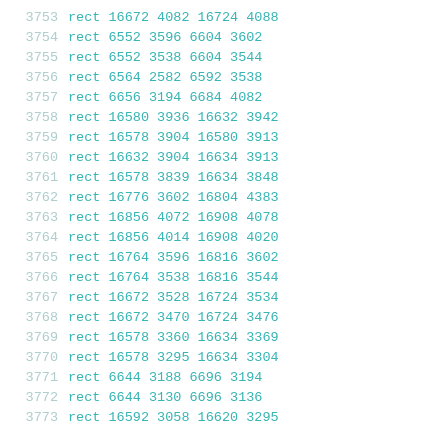| line | command | x1 | y1 | x2 | y2 |
| --- | --- | --- | --- | --- | --- |
| 3753 | rect | 16672 | 4082 | 16724 | 4088 |
| 3754 | rect | 6552 | 3596 | 6604 | 3602 |
| 3755 | rect | 6552 | 3538 | 6604 | 3544 |
| 3756 | rect | 6564 | 2582 | 6592 | 3538 |
| 3757 | rect | 6656 | 3194 | 6684 | 4082 |
| 3758 | rect | 16580 | 3936 | 16632 | 3942 |
| 3759 | rect | 16578 | 3904 | 16580 | 3913 |
| 3760 | rect | 16632 | 3904 | 16634 | 3913 |
| 3761 | rect | 16578 | 3839 | 16634 | 3848 |
| 3762 | rect | 16776 | 3602 | 16804 | 4383 |
| 3763 | rect | 16856 | 4072 | 16908 | 4078 |
| 3764 | rect | 16856 | 4014 | 16908 | 4020 |
| 3765 | rect | 16764 | 3596 | 16816 | 3602 |
| 3766 | rect | 16764 | 3538 | 16816 | 3544 |
| 3767 | rect | 16672 | 3528 | 16724 | 3534 |
| 3768 | rect | 16672 | 3470 | 16724 | 3476 |
| 3769 | rect | 16578 | 3360 | 16634 | 3369 |
| 3770 | rect | 16578 | 3295 | 16634 | 3304 |
| 3771 | rect | 6644 | 3188 | 6696 | 3194 |
| 3772 | rect | 6644 | 3130 | 6696 | 3136 |
| 3773 | rect | 16592 | 3058 | 16620 | 3295 |